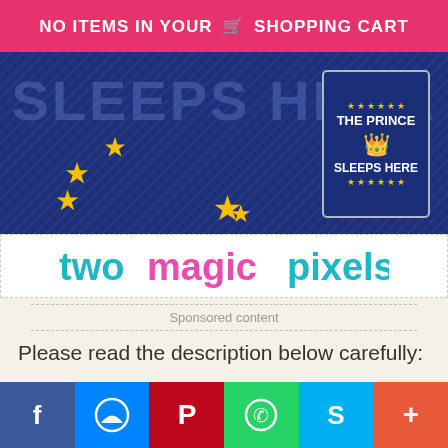NO ITEMS IN YOUR SHOPPING CART
[Figure (photo): Blue fabric with yellow stars and 'SLEEPS HERE' text overlay. A decorative card reads 'THE PRINCE SLEEPS HERE' with a crown and stars. Below the fabric image is the twomagicpixels logo.]
Sponsored content
Please read the description below carefully:
[Figure (infographic): Social media share buttons bar: Facebook, Messenger, Pinterest, WhatsApp, Skype, More (+)]